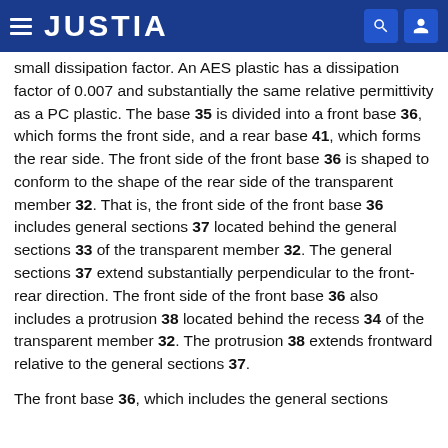JUSTIA
small dissipation factor. An AES plastic has a dissipation factor of 0.007 and substantially the same relative permittivity as a PC plastic. The base 35 is divided into a front base 36, which forms the front side, and a rear base 41, which forms the rear side. The front side of the front base 36 is shaped to conform to the shape of the rear side of the transparent member 32. That is, the front side of the front base 36 includes general sections 37 located behind the general sections 33 of the transparent member 32. The general sections 37 extend substantially perpendicular to the front-rear direction. The front side of the front base 36 also includes a protrusion 38 located behind the recess 34 of the transparent member 32. The protrusion 38 extends frontward relative to the general sections 37.
The front base 36, which includes the general sections